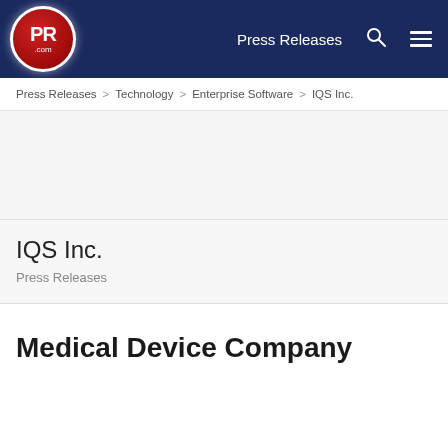PR.com | Press Releases
Press Releases > Technology > Enterprise Software > IQS Inc.
IQS Inc.
Press Releases
Medical Device Company